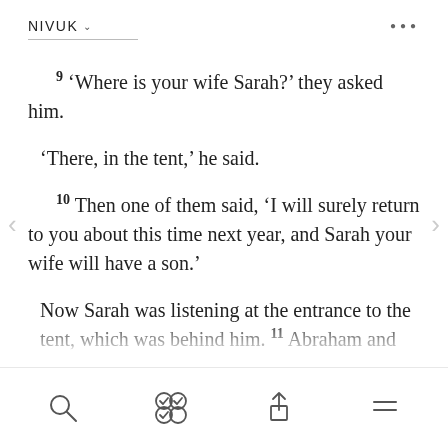NIVUK ···
9 'Where is your wife Sarah?' they asked him.

'There, in the tent,' he said.

10 Then one of them said, 'I will surely return to you about this time next year, and Sarah your wife will have a son.'

Now Sarah was listening at the entrance to the tent, which was behind him. 11 Abraham and Sarah were already very old, and Sarah was past the age of childbearing. 12 So Sarah laughed to herself as she thought, 'After I am worn out and